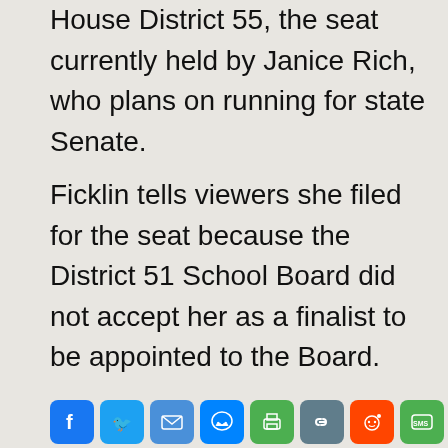House District 55, the seat currently held by Janice Rich, who plans on running for state Senate.
Ficklin tells viewers she filed for the seat because the District 51 School Board did not accept her as a finalist to be appointed to the Board.
Read more →
[Figure (other): Social media sharing icons row: Facebook, Twitter, Email, Messenger, Print, Link, Reddit, SMS, Gmail, Plus]